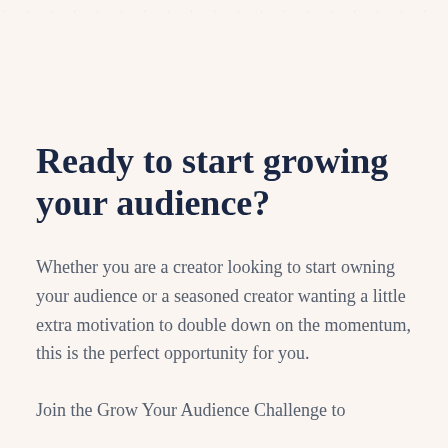· · · · · · · · · · · · · · · · · · · · · · · · · · · · · · · · · · · · · · · ·
Ready to start growing your audience?
Whether you are a creator looking to start owning your audience or a seasoned creator wanting a little extra motivation to double down on the momentum, this is the perfect opportunity for you.
Join the Grow Your Audience Challenge to